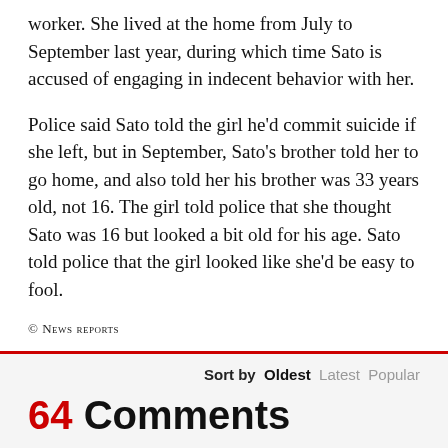worker. She lived at the home from July to September last year, during which time Sato is accused of engaging in indecent behavior with her.
Police said Sato told the girl he'd commit suicide if she left, but in September, Sato's brother told her to go home, and also told her his brother was 33 years old, not 16. The girl told police that she thought Sato was 16 but looked a bit old for his age. Sato told police that the girl looked like she'd be easy to fool.
© News reports
Sort by  Oldest  Latest  Popular
64 Comments